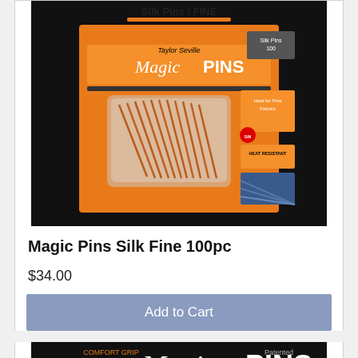[Figure (photo): Magic Pins Silk Fine 100pc product packaging on black background, showing an orange package with pins in a clear container]
Magic Pins Silk Fine 100pc
$34.00
Add to Cart
[Figure (photo): Magic Pins Silk Pins / Fine product packaging on black background, partial view showing logo and product label]